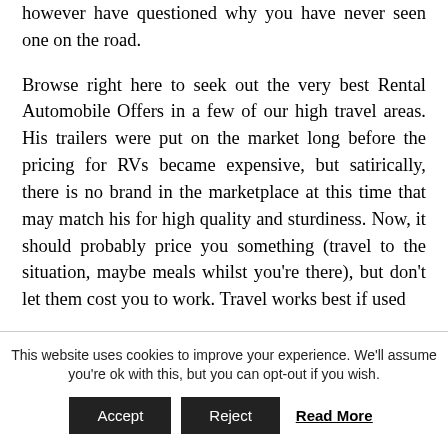however have questioned why you have never seen one on the road.
Browse right here to seek out the very best Rental Automobile Offers in a few of our high travel areas. His trailers were put on the market long before the pricing for RVs became expensive, but satirically, there is no brand in the marketplace at this time that may match his for high quality and sturdiness. Now, it should probably price you something (travel to the situation, maybe meals whilst you're there), but don't let them cost you to work. Travel works best if used
This website uses cookies to improve your experience. We'll assume you're ok with this, but you can opt-out if you wish.